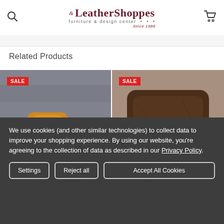LeatherShoppes furniture & design center • • • Since 1988
Related Products
[Figure (photo): Tan/caramel leather recliner chair with rolled arms, shown in a reclining position against a concrete block wall background. Has a SALE badge.]
[Figure (photo): Dark brown distressed leather club chair with rolled arms, shown front-facing. Has a SALE badge.]
We use cookies (and other similar technologies) to collect data to improve your shopping experience. By using our website, you're agreeing to the collection of data as described in our Privacy Policy.
Settings   Reject all   Accept All Cookies